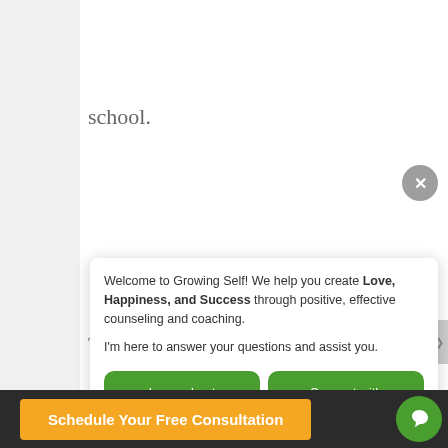school.
There was like a [person] at school who, seemed like she might be a similar height [and was] exposed to any of those ideas. And what I was taught was [from] Sesame street or the Muppets. Different Sesame street characters might have different colored skin and they all
[Figure (screenshot): Chat widget overlay from Growing Self counseling website with welcome message, two green buttons (Learn about services, Connect with an expert), and a FAQs button]
Welcome to Growing Self! We help you create Love, Happiness, and Success through positive, effective counseling and coaching.
I'm here to answer your questions and assist you.
Learn about services
Connect with an expert
FAQs
Schedule Your Free Consultation